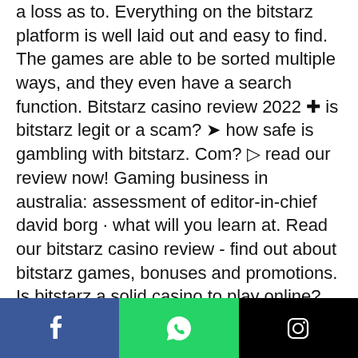a loss as to. Everything on the bitstarz platform is well laid out and easy to find. The games are able to be sorted multiple ways, and they even have a search function. Bitstarz casino review 2022 ✚ is bitstarz legit or a scam? ➤ how safe is gambling with bitstarz. Com? ▷ read our review now! Gaming business in australia: assessment of editor-in-chief david borg · what will you learn at. Read our bitstarz casino review - find out about bitstarz games, bonuses and promotions. Is bitstarz a solid casino to play online? When it comes to slots, bitstarz really has it down. Packing more than 3,000 of the very best games around, bitstarz has an impressive library that leaves you. Detailed bitstarz casino review revealing the complete game selection, customer support evaluation, payment methods, and bonuses!
[Figure (other): Social sharing bar with Facebook, WhatsApp, and Instagram icons]